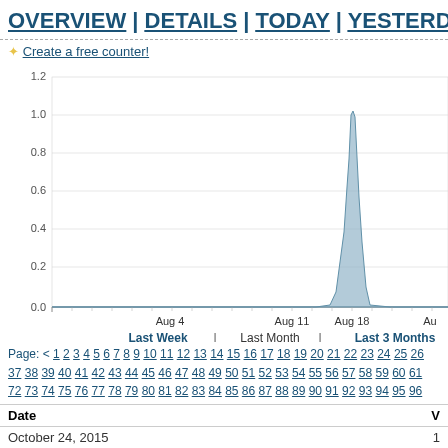OVERVIEW | DETAILS | TODAY | YESTERDAY |
✦ Create a free counter!
[Figure (line-chart): Line/area chart showing web counter visits over time. Near-zero values most of the period with a sharp spike to approximately 1.0 around Aug 18-19.]
Last Week | Last Month | Last 3 Months
Page: < 1 2 3 4 5 6 7 8 9 10 11 12 13 14 15 16 17 18 19 20 21 22 23 24 25 26 37 38 39 40 41 42 43 44 45 46 47 48 49 50 51 52 53 54 55 56 57 58 59 60 61 72 73 74 75 76 77 78 79 80 81 82 83 84 85 86 87 88 89 90 91 92 93 94 95 96
| Date | V |
| --- | --- |
| October 24, 2015 | 1 |
| October 23, 2015 | 2 |